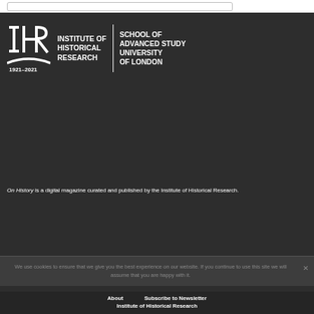[Figure (logo): Institute of Historical Research / School of Advanced Study University of London logo with IHR monogram and text, 1921-2021]
On History is a digital magazine curated and published by the Institute of Historical Research.
We use cookies to ensure that we give you the best experience on our website. If you continue to use this site we will assume that you are happy with it.
About   Subscribe to Newsletter   Institute of Historical Research